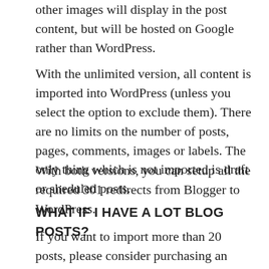other images will display in the post content, but will be hosted on Google rather than WordPress.
With the unlimited version, all content is imported into WordPress (unless you select the option to exclude them). There are no limits on the number of posts, pages, comments, images or labels. The only thing which is not imported is draft or sheduled posts.
With both versions, you can setup all the required 301 redirects from Blogger to WordPress.
WHAT IF I HAVE A LOT BLOG POSTS?
If you want to import more than 20 posts, please consider purchasing an unlimited license. This allows you to import as much as you like. The importer can handle any number of posts you have. We have migrated blogs from Blogger to WordPress with